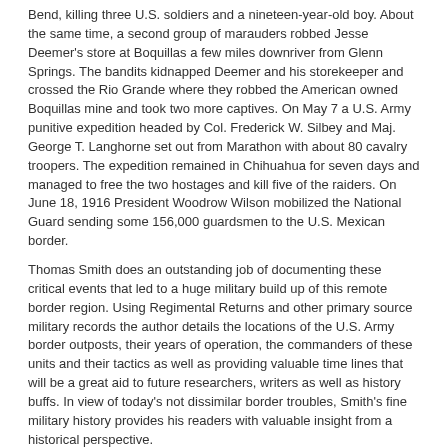Bend, killing three U.S. soldiers and a nineteen-year-old boy. About the same time, a second group of marauders robbed Jesse Deemer's store at Boquillas a few miles downriver from Glenn Springs. The bandits kidnapped Deemer and his storekeeper and crossed the Rio Grande where they robbed the American owned Boquillas mine and took two more captives. On May 7 a U.S. Army punitive expedition headed by Col. Frederick W. Silbey and Maj. George T. Langhorne set out from Marathon with about 80 cavalry troopers. The expedition remained in Chihuahua for seven days and managed to free the two hostages and kill five of the raiders. On June 18, 1916 President Woodrow Wilson mobilized the National Guard sending some 156,000 guardsmen to the U.S. Mexican border.
Thomas Smith does an outstanding job of documenting these critical events that led to a huge military build up of this remote border region. Using Regimental Returns and other primary source military records the author details the locations of the U.S. Army border outposts, their years of operation, the commanders of these units and their tactics as well as providing valuable time lines that will be a great aid to future researchers, writers as well as history buffs. In view of today's not dissimilar border troubles, Smith's fine military history provides his readers with valuable insight from a historical perspective.
Glenn Justice
[ view entry ] ( 1808 views )   |   permalink   |  ( 3 / 12831 )
T-BONE WHACKS AND CAVIAR SNACKS: COOKING WITH TWO TEXANS IN SIBERIA AND THE RUSSIAN FAR EAST
Thursday, June 14, 2018, 03:32 PM
Posted by Administrator
[Figure (photo): A wooden carved object with a leaf or floral pattern on wood surface background]